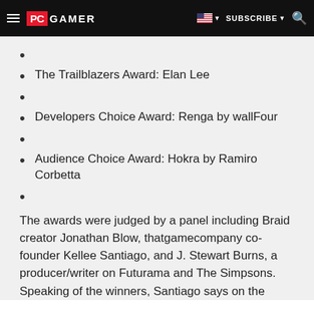PC GAMER — SUBSCRIBE
The Trailblazers Award: Elan Lee
Developers Choice Award: Renga by wallFour
Audience Choice Award: Hokra by Ramiro Corbetta
The awards were judged by a panel including Braid creator Jonathan Blow, thatgamecompany co-founder Kellee Santiago, and J. Stewart Burns, a producer/writer on Futurama and The Simpsons. Speaking of the winners, Santiago says on the